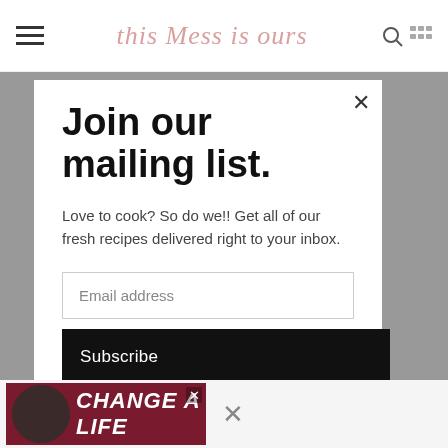This Mess is Ours
Join our mailing list.
Love to cook? So do we!! Get all of our fresh recipes delivered right to your inbox.
Email address
Subscribe
[Figure (screenshot): Advertisement banner: black dog photo with text CHANGE A LIFE on dark red background]